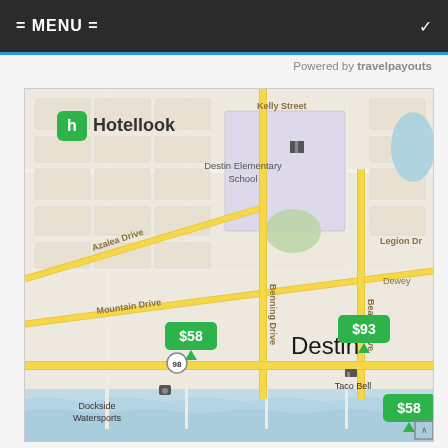= MENU =
Powered by travelpayouts
[Figure (map): Hotellook map showing Destin, Florida area with street names (Azalea Drive, Mountain Drive, Benning Drive, Beach Drive, Legion Drive, Kelly Street), landmarks (Destin Elementary School, Taco Bell, Dockside Watersports, Bliss Salon, Sunoco), and hotel price badges ($58, $93, $58) overlaid on the map.]